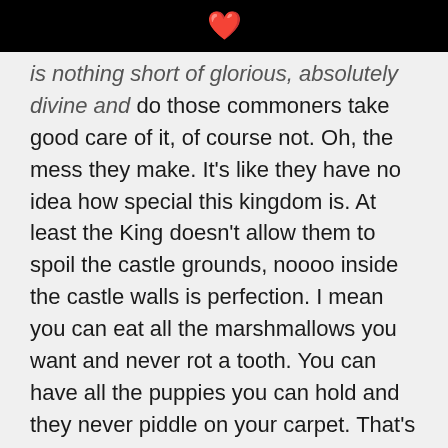❤️
is nothing short of glorious, absolutely divine and do those commoners take good care of it, of course not. Oh, the mess they make. It's like they have no idea how special this kingdom is. At least the King doesn't allow them to spoil the castle grounds, noooo inside the castle walls is perfection. I mean you can eat all the marshmallows you want and never rot a tooth. You can have all the puppies you can hold and they never piddle on your carpet. That's what paradise looks like.
But this is not where our boy lives.Our boy of wisdom beyond his years lives outside the castle walls with all the other commoners. I say